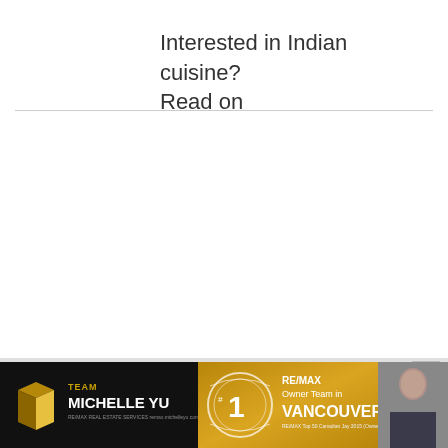Interested in Indian cuisine?
Read on
[Figure (photo): Advertisement banner for Team Michelle Yu - RE/MAX #1 Owner Team in Vancouver, with gold cube logo, circular badge reading #1, and photo of Michelle Yu]
×